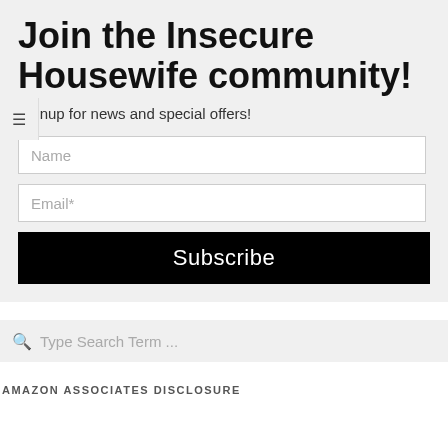Join the Insecure Housewife community!
Signup for news and special offers!
Name
Email*
Subscribe
Type Search Term ...
AMAZON ASSOCIATES DISCLOSURE